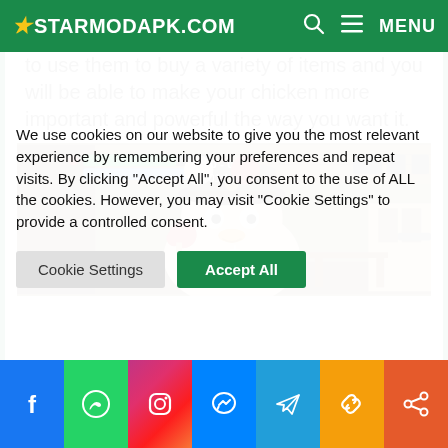STARMODAPK.COM
to use them to buy a variety of items and you will be able to make your chicken more important and powerful the way you want it.
[Figure (screenshot): Game screenshot showing a chicken character wearing a military hat in a 3D first-person shooter environment with brick walls, score display 0-0, timer 01:14]
We use cookies on our website to give you the most relevant experience by remembering your preferences and repeat visits. By clicking “Accept All”, you consent to the use of ALL the cookies. However, you may visit "Cookie Settings" to provide a controlled consent.
Cookie Settings | Accept All | Facebook | WhatsApp | Instagram | Messenger | Telegram | Copy | Share